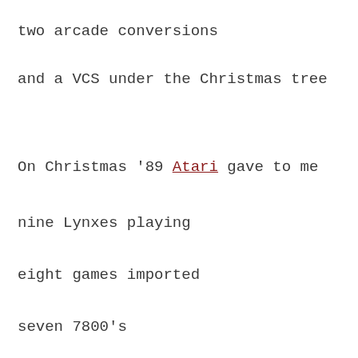two arcade conversions
and a VCS under the Christmas tree
On Christmas '89 Atari gave to me
nine Lynxes playing
eight games imported
seven 7800's